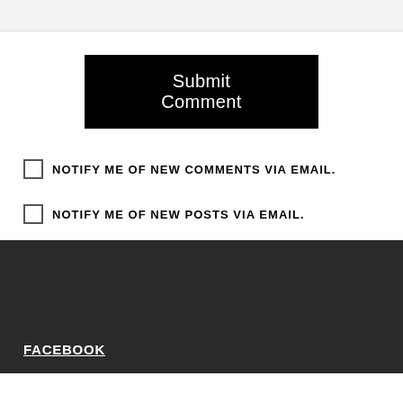[Figure (screenshot): Gray bar at top of page, partial UI element]
Submit Comment
NOTIFY ME OF NEW COMMENTS VIA EMAIL.
NOTIFY ME OF NEW POSTS VIA EMAIL.
FACEBOOK